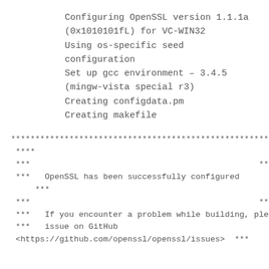Configuring OpenSSL version 1.1.1a (0x1010101fL) for VC-WIN32
Using os-specific seed configuration
Set up gcc environment – 3.4.5 (mingw-vista special r3)
Creating configdata.pm
Creating makefile
****************************************************************
****
***                                               ***
***   OpenSSL has been successfully configured
    ***
***                                               ***
***   If you encounter a problem while building, please open an    ***
***   issue on GitHub
<https://github.com/openssl/openssl/issues>  ***